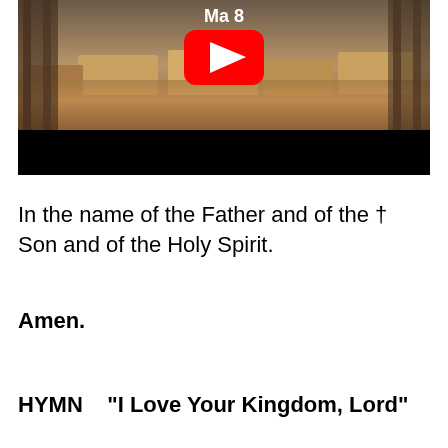[Figure (screenshot): YouTube video thumbnail showing ancient stone ruins with warm golden-brown tones. A YouTube play button (red rectangle with white triangle) is visible in the center top area. Text 'Ma...8' appears in white near the play button. The lower portion of the thumbnail has a black bar.]
In the name of the Father and of the † Son and of the Holy Spirit.
Amen.
HYMN   "I Love Your Kingdom, Lord"